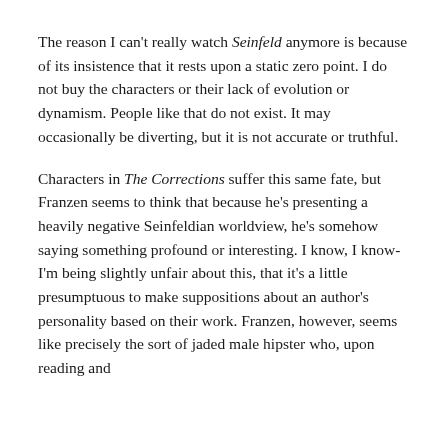The reason I can't really watch Seinfeld anymore is because of its insistence that it rests upon a static zero point. I do not buy the characters or their lack of evolution or dynamism. People like that do not exist. It may occasionally be diverting, but it is not accurate or truthful.
Characters in The Corrections suffer this same fate, but Franzen seems to think that because he's presenting a heavily negative Seinfeldian worldview, he's somehow saying something profound or interesting. I know, I know- I'm being slightly unfair about this, that it's a little presumptuous to make suppositions about an author's personality based on their work. Franzen, however, seems like precisely the sort of jaded male hipster who, upon reading and